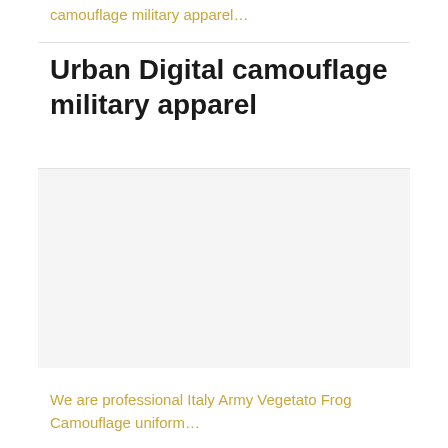camouflage military apparel…
Urban Digital camouflage military apparel
[Figure (photo): Product image area showing camouflage military apparel, displayed as a light gray placeholder region]
We are professional Italy Army Vegetato Frog Camouflage uniform…